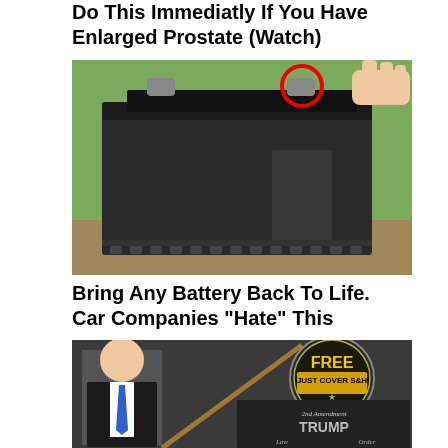Do This Immediatly If You Have Enlarged Prostate (Watch)
[Figure (photo): A large black car battery sitting on a surface with green foliage in background, with a hand visible at top right. A red circle highlights one of the battery terminals.]
Bring Any Battery Back To Life. Car Companies "Hate" This
[Figure (photo): A man in a suit with a blue tie holding a long stick/spear. A badge reads FREE JUST COVER S&H. An image in the lower right shows a flag with text 2nd Amendment TRUMP Law Order.]